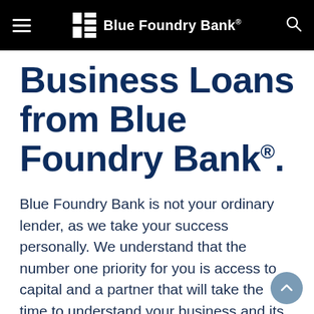Blue Foundry Bank®
Business Loans from Blue Foundry Bank®.
Blue Foundry Bank is not your ordinary lender, as we take your success personally. We understand that the number one priority for you is access to capital and a partner that will take the time to understand your business and its goals. That's exactly